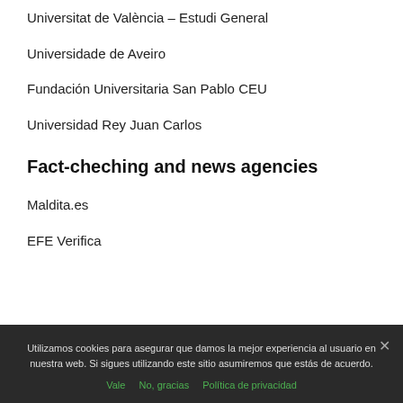Universitat de València – Estudi General
Universidade de Aveiro
Fundación Universitaria San Pablo CEU
Universidad Rey Juan Carlos
Fact-cheching and news agencies
Maldita.es
EFE Verifica
Utilizamos cookies para asegurar que damos la mejor experiencia al usuario en nuestra web. Si sigues utilizando este sitio asumiremos que estás de acuerdo.
Vale   No, gracias   Política de privacidad